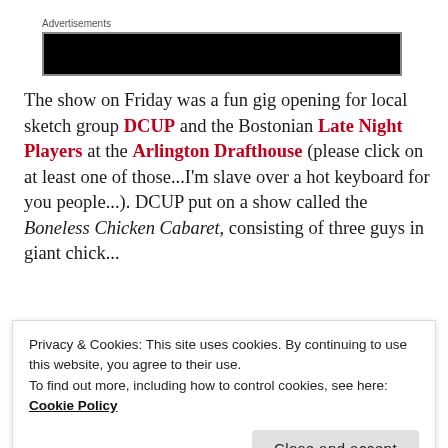[Figure (other): Advertisement banner — black rectangle with grey border]
The show on Friday was a fun gig opening for local sketch group DCUP and the Bostonian Late Night Players at the Arlington Drafthouse (please click on at least one of those...I'm slave over a hot keyboard for you people...). DCUP put on a show called the Boneless Chicken Cabaret, consisting of three guys in giant chick...
Privacy & Cookies: This site uses cookies. By continuing to use this website, you agree to their use.
To find out more, including how to control cookies, see here: Cookie Policy
[Close and accept]
the best way to describe is: After they got done, the